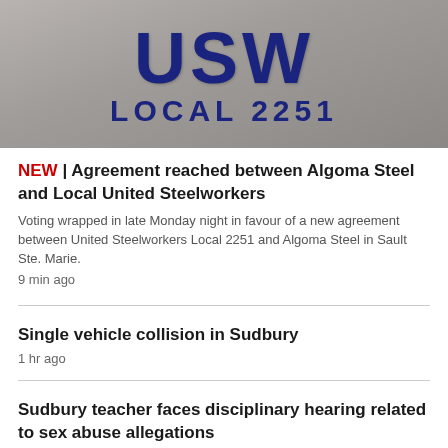[Figure (photo): Photo of a concrete wall with USW (United Steelworkers) logo and text 'LOCAL 2251' in dark blue letters]
NEW | Agreement reached between Algoma Steel and Local United Steelworkers
Voting wrapped in late Monday night in favour of a new agreement between United Steelworkers Local 2251 and Algoma Steel in Sault Ste. Marie.
9 min ago
Single vehicle collision in Sudbury
1 hr ago
Sudbury teacher faces disciplinary hearing related to sex abuse allegations